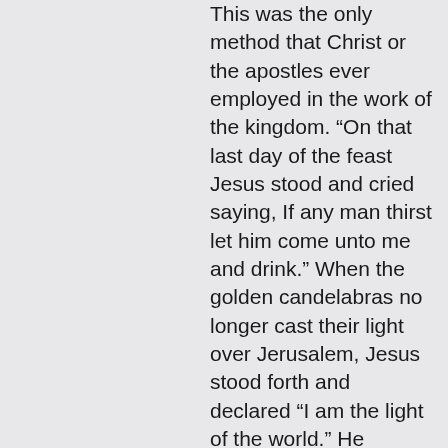This was the only method that Christ or the apostles ever employed in the work of the kingdom. "On that last day of the feast Jesus stood and cried saying, If any man thirst let him come unto me and drink." When the golden candelabras no longer cast their light over Jerusalem, Jesus stood forth and declared “I am the light of the world.” He proclaimed Himself the sinner’s Savior. Paul declared, “I determined not to know anything among you save Jesus Christ and Him crucified.” “For we preach not ourselves but Christ Jesus the Lord.” The alteration of the truth of